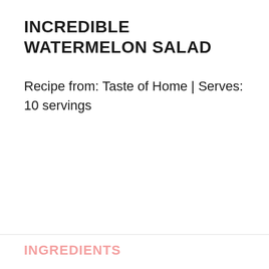INCREDIBLE WATERMELON SALAD
Recipe from: Taste of Home | Serves: 10 servings
INGREDIENTS